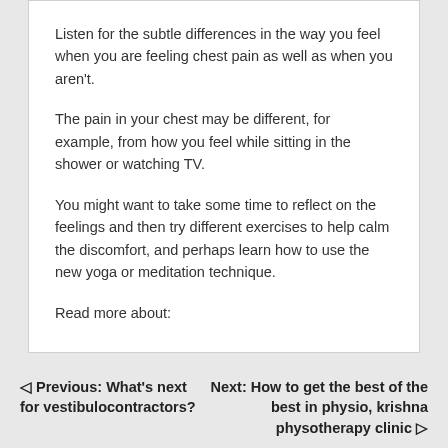Listen for the subtle differences in the way you feel when you are feeling chest pain as well as when you aren't.
The pain in your chest may be different, for example, from how you feel while sitting in the shower or watching TV.
You might want to take some time to reflect on the feelings and then try different exercises to help calm the discomfort, and perhaps learn how to use the new yoga or meditation technique.
Read more about:
◁ Previous: What's next for vestibulocontractors?
Next: How to get the best of the best in physio, krishna physotherapy clinic ▷